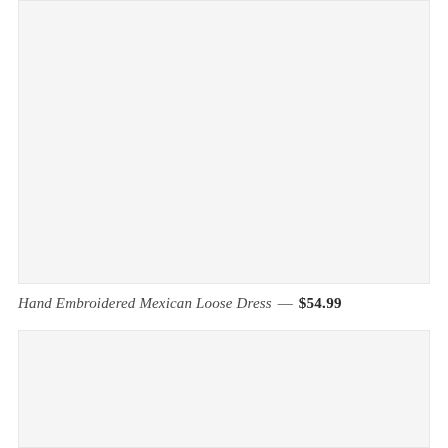[Figure (photo): Product image placeholder — light gray rectangular box representing a product photo of a Hand Embroidered Mexican Loose Dress]
Hand Embroidered Mexican Loose Dress — $54.99
[Figure (photo): Second product image placeholder — light gray rectangular box at the bottom of the page]